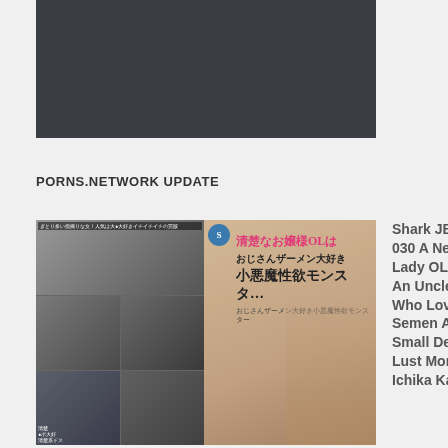[Figure (other): Dark video player placeholder rectangle]
PORNS.NETWORK UPDATE
[Figure (other): DVD cover thumbnails collage showing Japanese adult video covers]
Shark JBJB-030 A Neat Lady OL Is An Uncle Who Loves Semen A Small Devil Lust Monster Ichika Kasagi